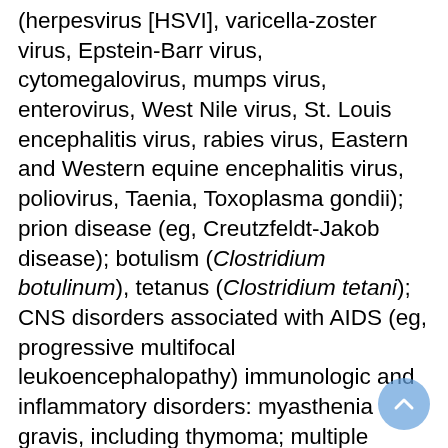(herpesvirus [HSVI], varicella-zoster virus, Epstein-Barr virus, cytomegalovirus, mumps virus, enterovirus, West Nile virus, St. Louis encephalitis virus, rabies virus, Eastern and Western equine encephalitis virus, poliovirus, Taenia, Toxoplasma gondii); prion disease (eg, Creutzfeldt-Jakob disease); botulism (Clostridium botulinum), tetanus (Clostridium tetani); CNS disorders associated with AIDS (eg, progressive multifocal leukoencephalopathy) immunologic and inflammatory disorders: myasthenia gravis, including thymoma; multiple sclerosis; transverse myelitis Neoplasms (cerebral, spinal, and peripheral): benign (meningioma, neurofibromatosis); malignant (glioblastoma multiforme, astrocytoma, medulloblastoma, primary CNS lymphoma); metastatic (eg, breast, lung, pancreatic, testicular, melanoma) Cerebrovascular disease: arteriovenous malformations, ectatic cerebral vessels; transient ischemic attack; stroke, thrombotic: cerebral artery occlusion/cerebral infarction; stroke, embolic: cerebral embolism;